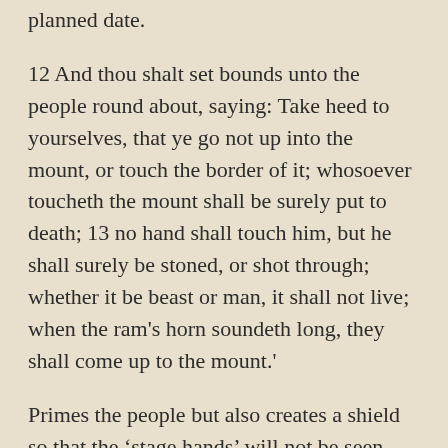planned date.
12 And thou shalt set bounds unto the people round about, saying: Take heed to yourselves, that ye go not up into the mount, or touch the border of it; whosoever toucheth the mount shall be surely put to death; 13 no hand shall touch him, but he shall surely be stoned, or shot through; whether it be beast or man, it shall not live; when the ram's horn soundeth long, they shall come up to the mount.'
Primes the people but also creates a shield so that the ‘stage hands’ will not be seen. Simultaneously protects spectators from pyrotechnics and special effects.
14 And Moses went down from the mount unto the people, and sanctified the people; and they washed their garments. 15 And he said unto the people: ‘Be